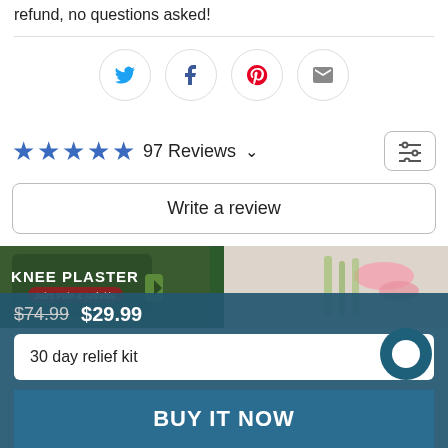refund, no questions asked!
[Figure (infographic): Social share icons: Twitter (blue bird), Facebook (dark f), Pinterest (red P), Email (envelope), each in a light gray circle]
97 Reviews
Write a review
[Figure (photo): Left: Knee Plaster product box (green, Joint Pain & Arthritis). Right: pink flowers on light background.]
$74.99  $29.99
30 day relief kit
BUY IT NOW